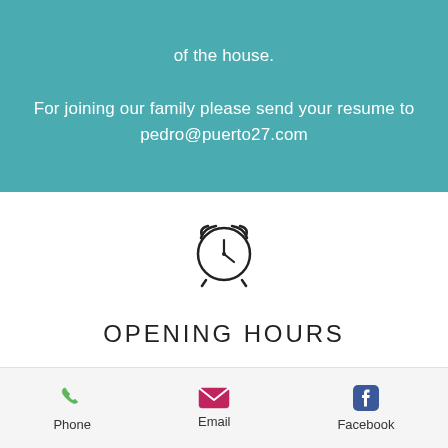of the house.

For joining our family please send your resume to
pedro@puerto27.com
[Figure (illustration): Alarm clock icon — a simple line-drawn circular clock face with two bells on top and clock hands pointing to approximately 5 o'clock]
OPENING HOURS
Outdoor & Indoor Dining
Phone   Email   Facebook